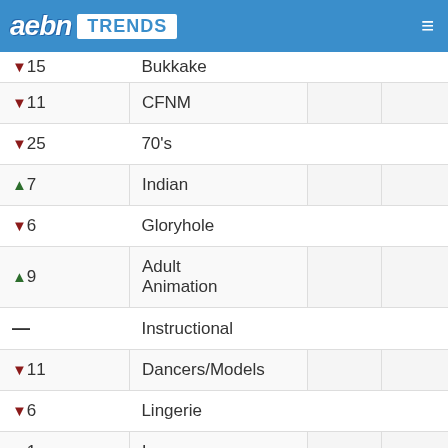aebn TRENDS
| Change | Category |  |  |
| --- | --- | --- | --- |
| ▼15 | Bukkake |  |  |
| ▼11 | CFNM |  |  |
| ▼25 | 70's |  |  |
| ▲7 | Indian |  |  |
| ▼6 | Gloryhole |  |  |
| ▲9 | Adult Animation |  |  |
| — | Instructional |  |  |
| ▼11 | Dancers/Models |  |  |
| ▼6 | Lingerie |  |  |
| ▼1 | Legs |  |  |
| ▼5 | Vampire |  |  |